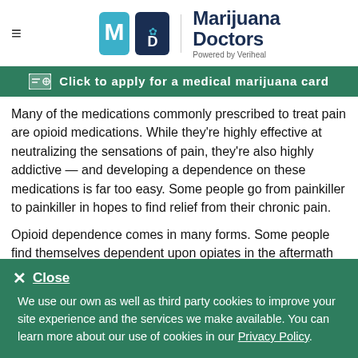Marijuana Doctors — Powered by Veriheal
Click to apply for a medical marijuana card
Many of the medications commonly prescribed to treat pain are opioid medications. While they're highly effective at neutralizing the sensations of pain, they're also highly addictive — and developing a dependence on these medications is far too easy. Some people go from painkiller to painkiller in hopes to find relief from their chronic pain.
Opioid dependence comes in many forms. Some people find themselves dependent upon opiates in the aftermath of an
✕ Close

We use our own as well as third party cookies to improve your site experience and the services we make available. You can learn more about our use of cookies in our Privacy Policy.